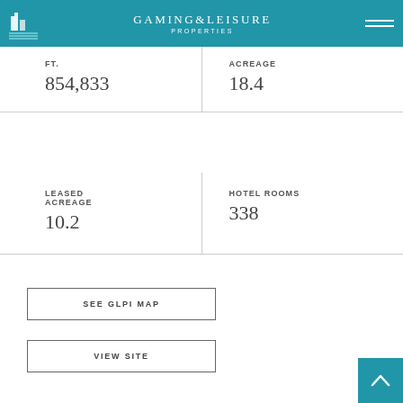Gaming & Leisure Properties
| FT. | ACREAGE |
| --- | --- |
| 854,833 | 18.4 |
| LEASED ACREAGE | HOTEL ROOMS |
| --- | --- |
| 10.2 | 338 |
SEE GLPI MAP
VIEW SITE